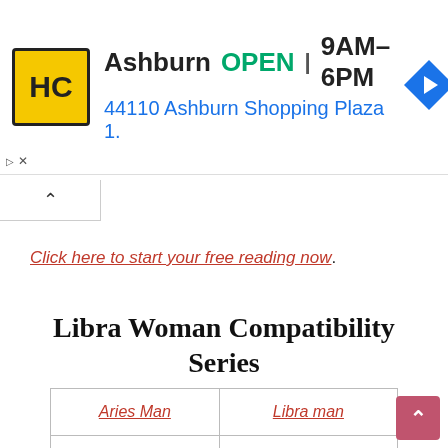[Figure (screenshot): Advertisement banner for Hairclub showing logo, Ashburn location, OPEN status, hours 9AM-6PM, address 44110 Ashburn Shopping Plaza 1., and a navigation arrow icon]
Click here to start your free reading now.
Libra Woman Compatibility Series
| Aries Man | Libra man |
| Taurus man | Scorpio man |
|  |  |